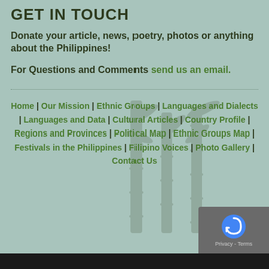GET IN TOUCH
Donate your article, news, poetry, photos or anything about the Philippines!
For Questions and Comments send us an email.
Home | Our Mission | Ethnic Groups | Languages and Dialects | Languages and Data | Cultural Articles | Country Profile | Regions and Provinces | Political Map | Ethnic Groups Map | Festivals in the Philippines | Filipino Voices | Photo Gallery | Contact Us